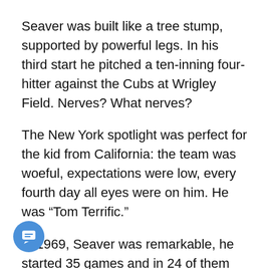Seaver was built like a tree stump, supported by powerful legs. In his third start he pitched a ten-inning four-hitter against the Cubs at Wrigley Field. Nerves? What nerves?
The New York spotlight was perfect for the kid from California: the team was woeful, expectations were low, every fourth day all eyes were on him. He was “Tom Terrific.”
In 1969, Seaver was remarkable, he started 35 games and in 24 of them he allowed zero, one, or two runs. He won 25 games, threw five shutouts, and got better as the season drew to a close. Seaver went 7-0 after August 31st with seven complete games, three shutouts, a 0.71 ERA, and he did not allow a home run in September. He pitched ten innings in his Game Four victory in the World Series, helping the “miracle”